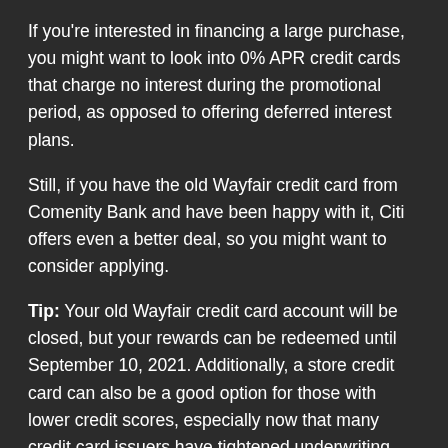If you're interested in financing a large purchase, you might want to look into 0% APR credit cards that charge no interest during the promotional period, as opposed to offering deferred interest plans.
Still, if you have the old Wayfair credit card from Comenity Bank and have been happy with it, Citi offers even a better deal, so you might want to consider applying.
Tip: Your old Wayfair credit card account will be closed, but your rewards can be redeemed until September 10, 2021. Additionally, a store credit card can also be a good option for those with lower credit scores, especially now that many credit card issuers have tightened underwriting standards.
Editorial Disclaimer